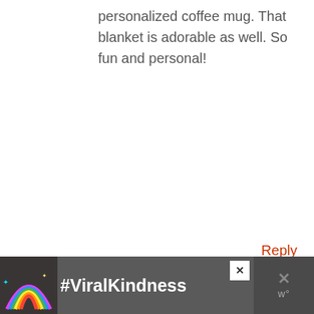personalized coffee mug. That blanket is adorable as well. So fun and personal!
Reply
LISA COLLINS
APRIL 15, 2016 AT 10:12 PM
Oh I love that blanket! At first I
[Figure (screenshot): Advertisement banner showing a rainbow graphic and #ViralKindness hashtag text on a dark background, with a close button and additional icon on the right.]